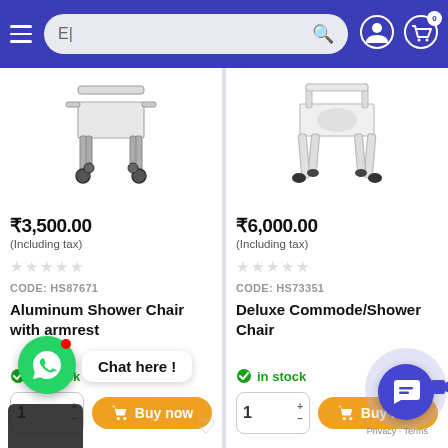E| [search bar] [user icon] [cart icon 0]
[Figure (photo): Aluminum shower chair with armrest product image - metal frame with wheels]
₹3,500.00
(Including tax)
CODE: HS87671
Aluminum Shower Chair with armrest
in stock
[Figure (photo): Deluxe Commode/Shower Chair product image - white frame with rubber feet]
₹6,000.00
(Including tax)
CODE: HS73351
Deluxe Commode/Shower Chair
in stock
Chat here !
Privacy · Terms